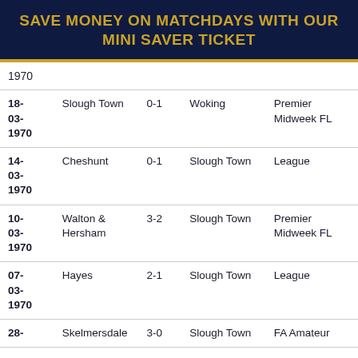SAVE MONEY ON MATCHDAYS WITH OUR MINI SAVER TICKET
| Date | Home | Score | Away | Competition |
| --- | --- | --- | --- | --- |
| 1970 |  |  |  |  |
| 18-03-1970 | Slough Town | 0-1 | Woking | Premier Midweek FL |
| 14-03-1970 | Cheshunt | 0-1 | Slough Town | League |
| 10-03-1970 | Walton & Hersham | 3-2 | Slough Town | Premier Midweek FL |
| 07-03-1970 | Hayes | 2-1 | Slough Town | League |
| 28- | Skelmersdale | 3-0 | Slough Town | FA Amateur |